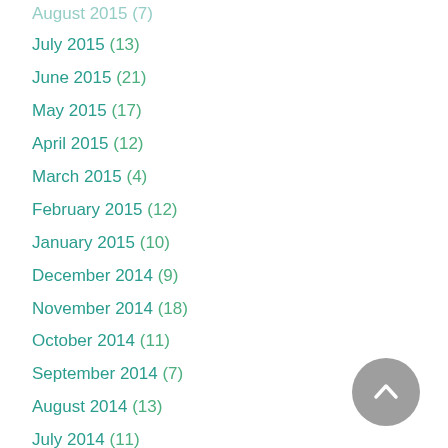July 2015 (13)
June 2015 (21)
May 2015 (17)
April 2015 (12)
March 2015 (4)
February 2015 (12)
January 2015 (10)
December 2014 (9)
November 2014 (18)
October 2014 (11)
September 2014 (7)
August 2014 (13)
July 2014 (11)
June 2014 (14)
May 2014 (11)